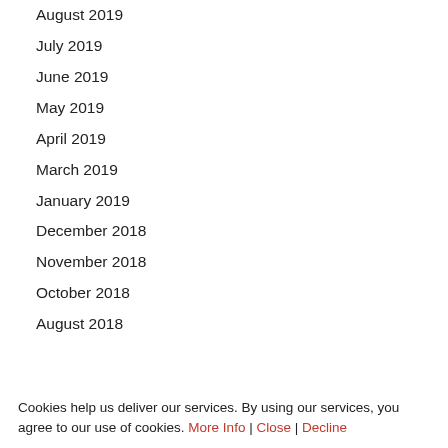August 2019
July 2019
June 2019
May 2019
April 2019
March 2019
January 2019
December 2018
November 2018
October 2018
August 2018
Cookies help us deliver our services. By using our services, you agree to our use of cookies. More Info | Close | Decline